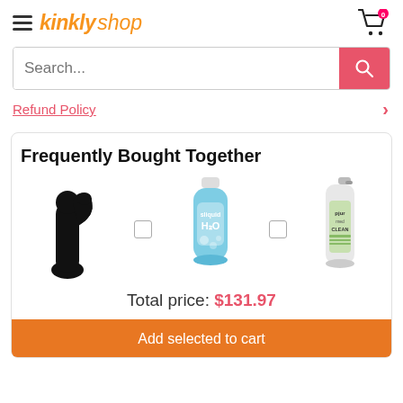kinkly shop — navigation header with hamburger menu, logo, and cart icon (0 items)
Search...
Refund Policy
Frequently Bought Together
[Figure (photo): Three product images side by side: a black rabbit vibrator, a bottle of Sliquid H2O lubricant, and a pjur med CLEAN spray bottle, separated by plus signs (checkboxes).]
Total price: $131.97
Add selected to cart